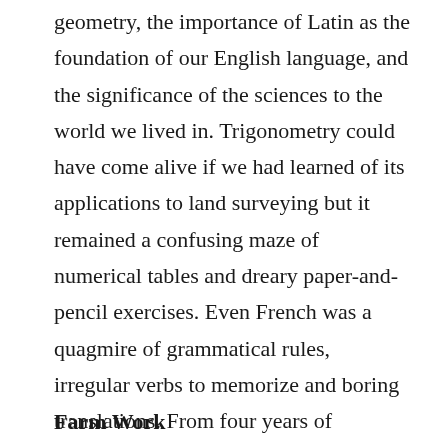geometry, the importance of Latin as the foundation of our English language, and the significance of the sciences to the world we lived in. Trigonometry could have come alive if we had learned of its applications to land surveying but it remained a confusing maze of numerical tables and dreary paper-and-pencil exercises. Even French was a quagmire of grammatical rules, irregular verbs to memorize and boring translations. From four years of exposure to French I remember learning one single sentence of conversation, “Pouvez-vous m’endiquez le chemin pour allez a la bureau de post?” So homework and cramming for exams dominated our lives while education passed us by.
Farm Work